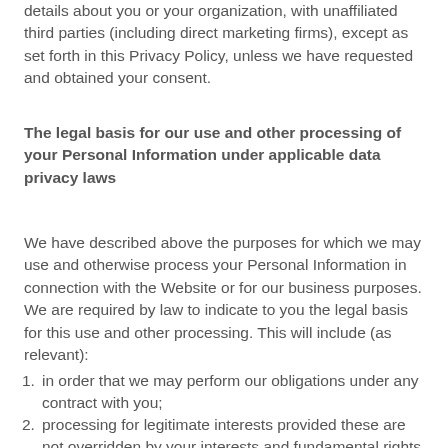details about you or your organization, with unaffiliated third parties (including direct marketing firms), except as set forth in this Privacy Policy, unless we have requested and obtained your consent.
The legal basis for our use and other processing of your Personal Information under applicable data privacy laws
We have described above the purposes for which we may use and otherwise process your Personal Information in connection with the Website or for our business purposes. We are required by law to indicate to you the legal basis for this use and other processing. This will include (as relevant):
in order that we may perform our obligations under any contract with you;
processing for legitimate interests provided these are not overridden by your interests and fundamental rights and freedoms (this includes